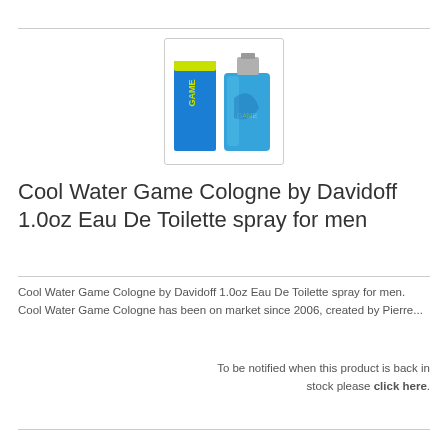[Figure (photo): Product photo of Cool Water Game Cologne by Davidoff — a blue bottle with silver cap next to its blue and yellow box, on white background inside a light gray border box.]
Cool Water Game Cologne by Davidoff 1.0oz Eau De Toilette spray for men
Cool Water Game Cologne by Davidoff 1.0oz Eau De Toilette spray for men. Cool Water Game Cologne has been on market since 2006, created by Pierre...
To be notified when this product is back in stock please click here.